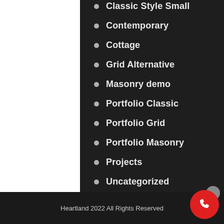Classic Style Small
Contemporary
Cottage
Grid Alternative
Masonry demo
Portfolio Classic
Portfolio Grid
Portfolio Masonry
Projects
Uncategorized
Heartland 2022 All Rights Reserved